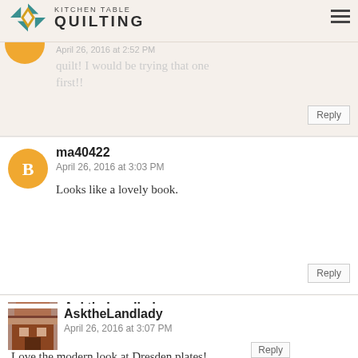Kitchen Table Quilting
April 26, 2016 at 2:52 PM
quilt! I would be trying that one first!!
Reply
ma40422
April 26, 2016 at 3:03 PM
Looks like a lovely book.
Reply
AsktheLandlady
April 26, 2016 at 3:07 PM
Love the modern look at Dresden plates!
Reply